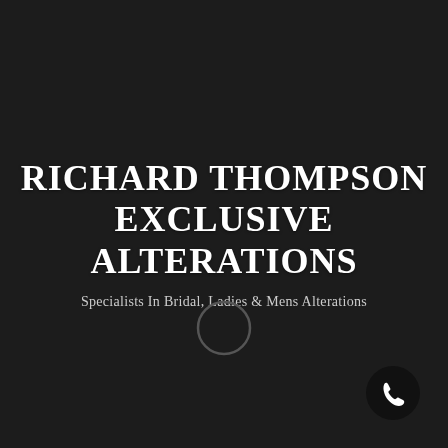RICHARD THOMPSON EXCLUSIVE ALTERATIONS
Specialists In Bridal, Ladies & Mens Alterations
[Figure (illustration): A thin circular ring icon, dark grey outline on dark background]
[Figure (logo): Black circular phone/call button with white telephone handset icon in bottom-right corner]